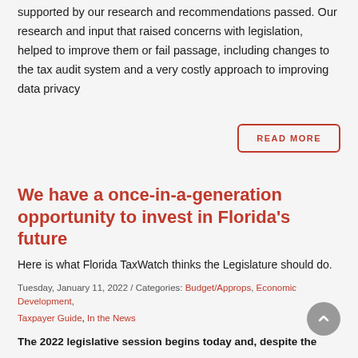supported by our research and recommendations passed. Our research and input that raised concerns with legislation, helped to improve them or fail passage, including changes to the tax audit system and a very costly approach to improving data privacy
READ MORE
We have a once-in-a-generation opportunity to invest in Florida's future
Here is what Florida TaxWatch thinks the Legislature should do.
Tuesday, January 11, 2022 / Categories: Budget/Approps, Economic Development, Taxpayer Guide, In the News
The 2022 legislative session begins today and, despite the